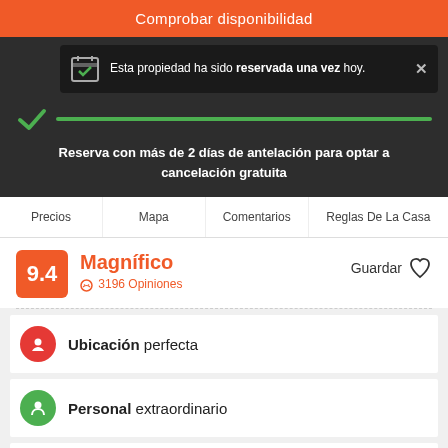Comprobar disponibilidad
Esta propiedad ha sido reservada una vez hoy.
Reserva con más de 2 días de antelación para optar a cancelación gratuita
Precios | Mapa | Comentarios | Reglas De La Casa
9.4 Magnífico 3196 Opiniones
Guardar
Ubicación perfecta
Personal extraordinario
Limpieza fantástica
¡Nos encanta este hostel!